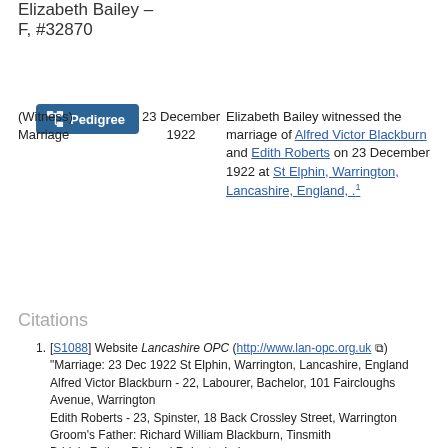Elizabeth Bailey – F, #32870
[Figure (other): Pedigree button with icon]
| Event | Date | Description |
| --- | --- | --- |
| (Witness) Marriage | 23 December 1922 | Elizabeth Bailey witnessed the marriage of Alfred Victor Blackburn and Edith Roberts on 23 December 1922 at St Elphin, Warrington, Lancashire, England, .1 |
Citations
[S1088] Website Lancashire OPC (http://www.lan-opc.org.uk) "Marriage: 23 Dec 1922 St Elphin, Warrington, Lancashire, England Alfred Victor Blackburn - 22, Labourer, Bachelor, 101 Faircloughs Avenue, Warrington Edith Roberts - 23, Spinster, 18 Back Crossley Street, Warrington Groom's Father: Richard William Blackburn, Tinsmith Bride's Father: Richard Roberts, Labourer Witness: William Arthur Ainsworth; Elizabeth Bailey; William Roberts Married by Banns by: Frd. A. Willis, Rector